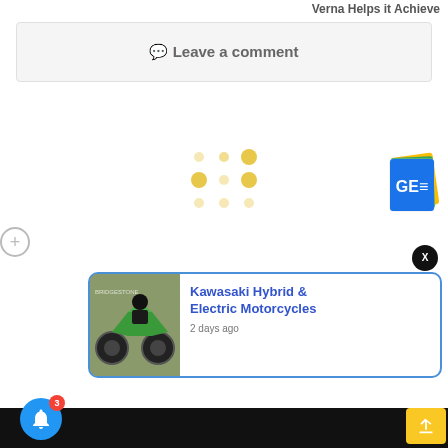Verna Helps it Achieve
💬 Leave a comment
[Figure (illustration): Loading spinner dots in a 3x3 grid pattern with some dots highlighted in yellow/gold]
[Figure (logo): Google News icon - colorful stacked pages with GE= text]
X
[Figure (photo): Kawasaki green motorcycle racing on track with rider in racing gear]
Kawasaki Hybrid & Electric Motorcycles
2 days ago
[Figure (illustration): Blue circular bell notification button with red badge showing 3 notifications]
[Figure (illustration): Yellow/green share/upload button in bottom right corner]